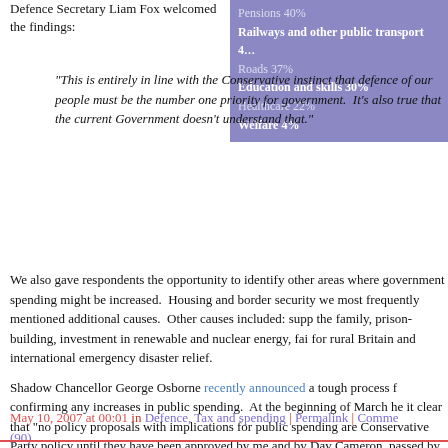Defence Secretary Liam Fox welcomed the findings:
[Figure (infographic): Purple box listing spending priorities with percentages: Pensions 40%, Railways and other public transport 4[x]%, Roads 37%, Education and skills 30%, Healthcare 22%, Welfare 4%]
"This is entirely in line with the Conservative instinct that defence of our people must be the number one priority for government. It's also true that the current Government doesn't understand that."
We also gave respondents the opportunity to identify other areas where government spending might be increased. Housing and border security we most frequently mentioned additional causes. Other causes included: supp the family, prison-building, investment in renewable and nuclear energy, fai for rural Britain and international emergency disaster relief.
Shadow Chancellor George Osborne recently announced a tough process f confirming any increases in public spending. At the beginning of March he it clear that "no policy proposals with implications for public spending are Conservative Party policy until they have been approved by me and by Dav Cameron, passed by the Shadow Cabinet, and appear in our draft manifest
May 10, 2007 at 00:01 in Defence, Tax and spending | Permalink | Comments (90)